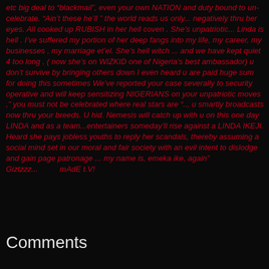etc big deal to “blackmail”, even your own NATION and duty bound to un- celebrate. “Ain’t these he’ll ” the world reads us only... negatively thru her eyes. All cooked up RUBISH in her hell coven . She’s unpatriotic... Linda is hell . I’ve suffered my portion of her deep fangs into my life, my career, my businesses , my marriage et’el. She’s hell witch ... and we have kept quiet 4 too long , ( now she’s on WIZKID one of Nigeria’s best ambassador) u don’t survive by bringing others down I even heard u are paid huge sum for doing this sometimes We’ve reported your case severally to security operative and will keep sensitizing NIGERIANS on your unpatriotic moves ,” you must not be celebrated where real stars are “.., u smartly broadcasts now thru your breeds. U hid. Nemesis will catch up with u on this one day LINDA and as a team...entertainers someday’ll rise against a LINDA IKEJI. Heard she pays jobless youths to reply her scandals, thereby assuming a social mind set in our moral and fair society with an evil intent to dislodge and gain page patronage ... my name is, emeka ike, again” Giztzzz...          mAdE t.V!
Comments